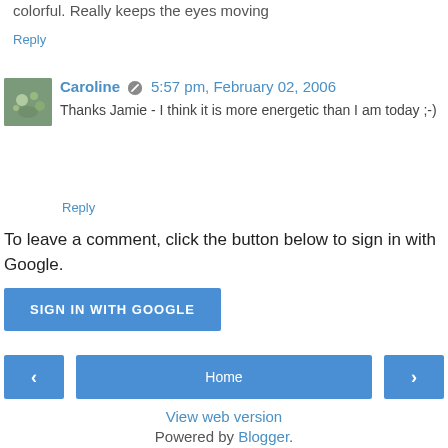colorful. Really keeps the eyes moving
Reply
Caroline  5:57 pm, February 02, 2006
Thanks Jamie - I think it is more energetic than I am today ;-)
Reply
To leave a comment, click the button below to sign in with Google.
SIGN IN WITH GOOGLE
Home
View web version
Powered by Blogger.